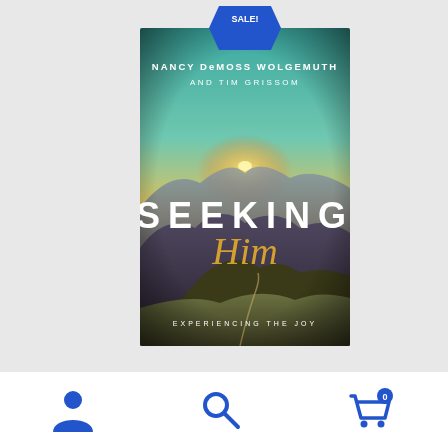[Figure (illustration): Book cover for 'Seeking Him: Experiencing the Joy' by Nancy DeMoss Wolgemuth and Tim Grissom. Shows a mountain landscape at sunset with the book title overlaid. A blue hexagonal SALE! badge overlaps the top of the cover.]
[Figure (illustration): Bottom navigation bar with three blue icons: a person/user icon on the left, a search magnifying glass in the center, and a shopping cart with a '0' badge on the right.]